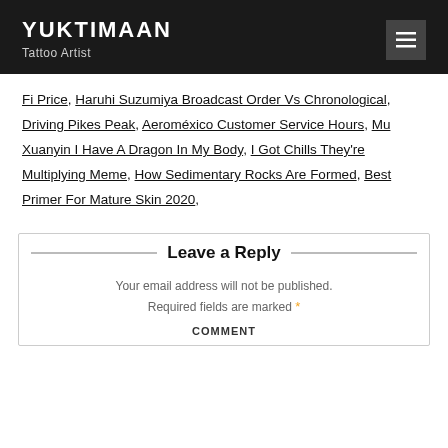YUKTIMAAN
Tattoo Artist
Fi Price, Haruhi Suzumiya Broadcast Order Vs Chronological, Driving Pikes Peak, Aeroméxico Customer Service Hours, Mu Xuanyin I Have A Dragon In My Body, I Got Chills They're Multiplying Meme, How Sedimentary Rocks Are Formed, Best Primer For Mature Skin 2020,
Leave a Reply
Your email address will not be published. Required fields are marked *
COMMENT